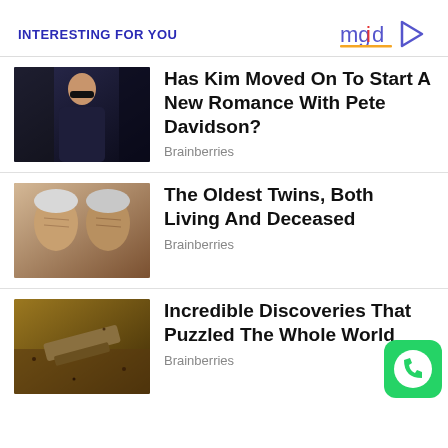INTERESTING FOR YOU
[Figure (logo): mgid logo with play button]
[Figure (photo): Woman wearing sunglasses in dark outfit]
Has Kim Moved On To Start A New Romance With Pete Davidson?
Brainberries
[Figure (photo): Two elderly people facing each other closely]
The Oldest Twins, Both Living And Deceased
Brainberries
[Figure (photo): Archaeological discovery in dirt/earth]
Incredible Discoveries That Puzzled The Whole World
Brainberries
[Figure (logo): WhatsApp icon in bottom right corner]